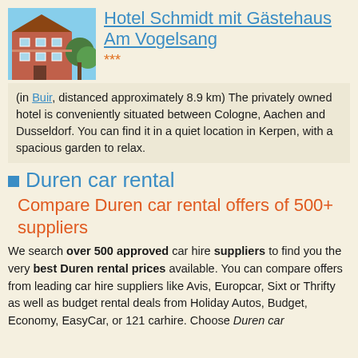Hotel Schmidt mit Gästehaus Am Vogelsang
***
(in Buir, distanced approximately 8.9 km) The privately owned hotel is conveniently situated between Cologne, Aachen and Dusseldorf. You can find it in a quiet location in Kerpen, with a spacious garden to relax.
Duren car rental
Compare Duren car rental offers of 500+ suppliers
We search over 500 approved car hire suppliers to find you the very best Duren rental prices available. You can compare offers from leading car hire suppliers like Avis, Europcar, Sixt or Thrifty as well as budget rental deals from Holiday Autos, Budget, Economy, EasyCar, or 121 carhire. Choose Duren car